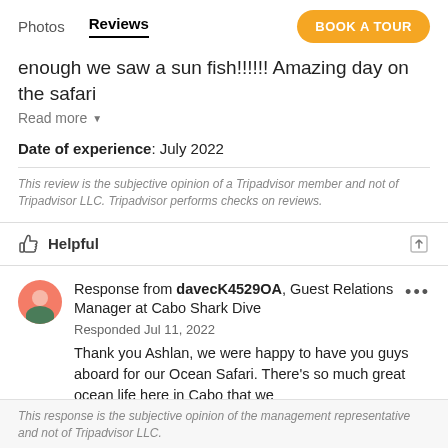Photos  Reviews  BOOK A TOUR
enough we saw a sun fish!!!!!! Amazing day on the safari
Read more ▼
Date of experience: July 2022
This review is the subjective opinion of a Tripadvisor member and not of Tripadvisor LLC. Tripadvisor performs checks on reviews.
Helpful
Response from davecK4529OA, Guest Relations Manager at Cabo Shark Dive
Responded Jul 11, 2022
Thank you Ashlan, we were happy to have you guys aboard for our Ocean Safari. There's so much great ocean life here in Cabo that we
Read more ▼
This response is the subjective opinion of the management representative and not of Tripadvisor LLC.